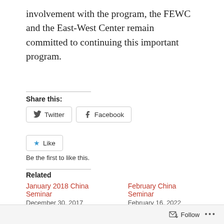involvement with the program, the FEWC and the East-West Center remain committed to continuing this important program.
Share this:
[Figure (screenshot): Social share buttons: Twitter and Facebook]
[Figure (screenshot): Like button with star icon]
Be the first to like this.
Related
January 2018 China Seminar
December 30, 2017
February China Seminar
February 16, 2022
January China Seminar
Follow ...